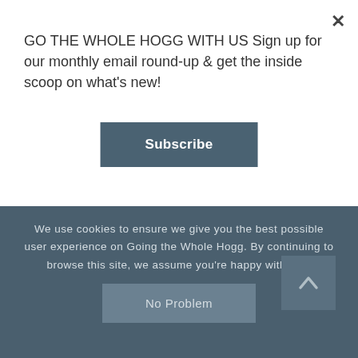GO THE WHOLE HOGG WITH US Sign up for our monthly email round-up & get the inside scoop on what's new!
Subscribe
Muttrah corniche and the many alleys of Muttrah Souq. This is a beautiful spot, full of character and history. The setting is very picturesque, low-rise buildings nestled between the port on one side and
We use cookies to ensure we give you the best possible user experience on Going the Whole Hogg. By continuing to browse this site, we assume you're happy with this.
No Problem